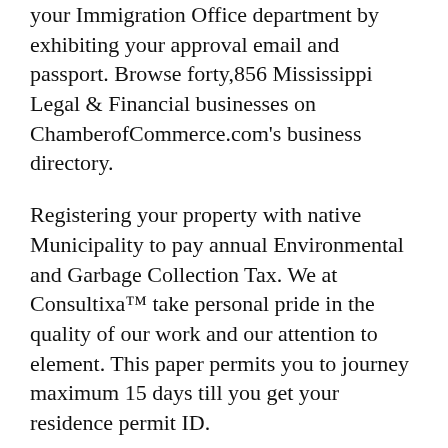your Immigration Office department by exhibiting your approval email and passport. Browse forty,856 Mississippi Legal & Financial businesses on ChamberofCommerce.com's business directory.
Registering your property with native Municipality to pay annual Environmental and Garbage Collection Tax. We at Consultixa™ take personal pride in the quality of our work and our attention to element. This paper permits you to journey maximum 15 days till you get your residence permit ID.
We strive to offer each shopper with successful outcomes by considering all applicable, artistic options. Our Turkish lawfirm can offer you additional data on the provisions set up under this legislation.
While the family would not know what that means, rights organizations say the term could imply that the person